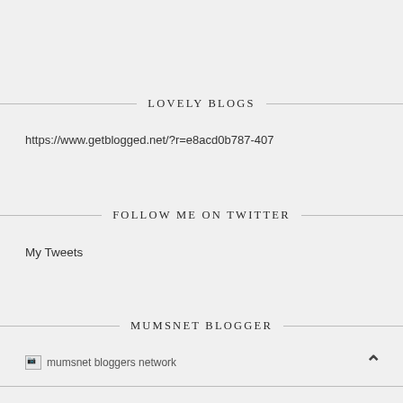LOVELY BLOGS
https://www.getblogged.net/?r=e8acd0b787-407
FOLLOW ME ON TWITTER
My Tweets
MUMSNET BLOGGER
[Figure (other): Broken image placeholder for mumsnet bloggers network]
mumsnet bloggers network